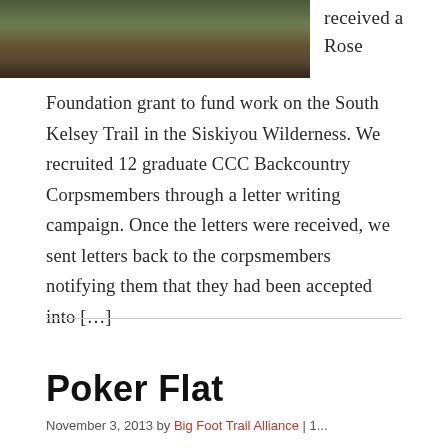[Figure (photo): Photograph of people working on a trail outdoors, silhouetted against dirt and vegetation.]
received a Rose Foundation grant to fund work on the South Kelsey Trail in the Siskiyou Wilderness. We recruited 12 graduate CCC Backcountry Corpsmembers through a letter writing campaign. Once the letters were received, we sent letters back to the corpsmembers notifying them that they had been accepted into [...]
Poker Flat
November 3, 2013 by Big Foot Trail Alliance | 1...